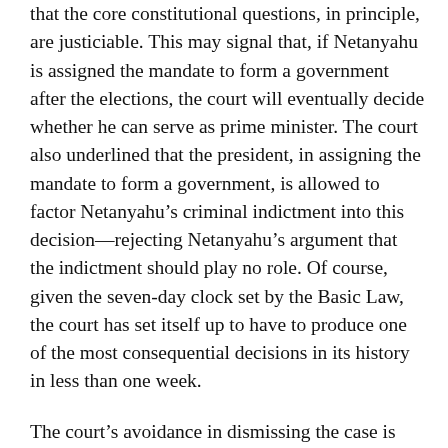that the core constitutional questions, in principle, are justiciable. This may signal that, if Netanyahu is assigned the mandate to form a government after the elections, the court will eventually decide whether he can serve as prime minister. The court also underlined that the president, in assigning the mandate to form a government, is allowed to factor Netanyahu's criminal indictment into this decision—rejecting Netanyahu's argument that the indictment should play no role. Of course, given the seven-day clock set by the Basic Law, the court has set itself up to have to produce one of the most consequential decisions in its history in less than one week.
The court's avoidance in dismissing the case is understandable given that it is caught between a rock and a hard place. The stakes of disqualifying Netanyahu—the longest serving prime minister in Israel's history, who has solidified his control over the